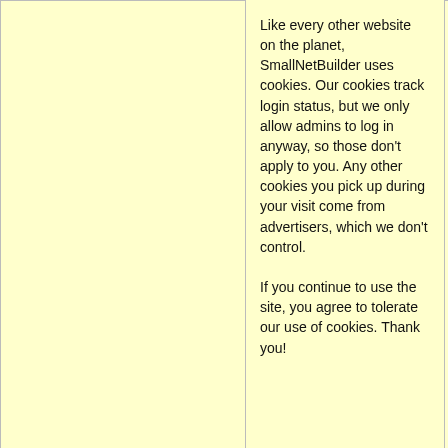Related Articles
[Figure (screenshot): SmallNetBuilder website screenshot showing navigation bar with bee mascot logo, breadcrumb navigation, and Wi-Fi Router section header]
Like every other website on the planet, SmallNetBuilder uses cookies. Our cookies track login status, but we only allow admins to log in anyway, so those don't apply to you. Any other cookies you pick up during your visit come from advertisers, which we don't control.
If you continue to use the site, you agree to tolerate our use of cookies. Thank you!